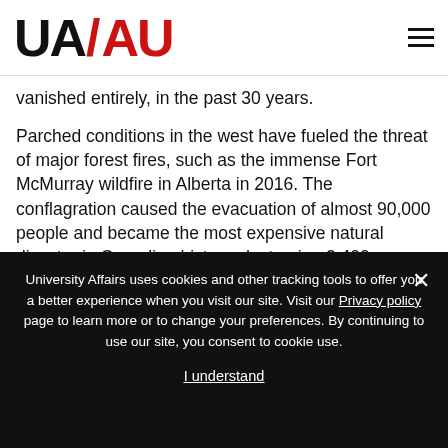UA/AU
vanished entirely, in the past 30 years.
Parched conditions in the west have fueled the threat of major forest fires, such as the immense Fort McMurray wildfire in Alberta in 2016. The conflagration caused the evacuation of almost 90,000 people and became the most expensive natural disaster in Canadian history, destroying 2,400 buildings and causing an estimated $10 billion in damages.
University Affairs uses cookies and other tracking tools to offer you a better experience when you visit our site. Visit our Privacy policy page to learn more or to change your preferences. By continuing to use our site, you consent to cookie use.
I understand